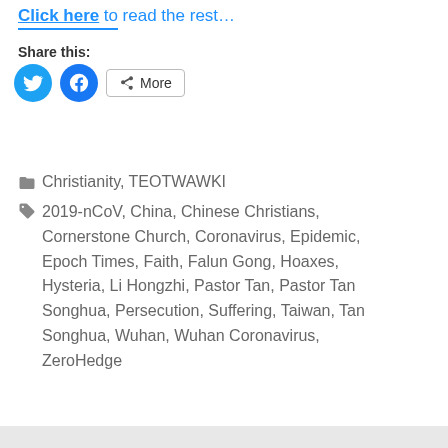Click here to read the rest…
Share this:
[Figure (other): Twitter share button (blue circle with bird icon), Facebook share button (blue circle with f icon), and More button with share icon]
Christianity, TEOTWAWKI
2019-nCoV, China, Chinese Christians, Cornerstone Church, Coronavirus, Epidemic, Epoch Times, Faith, Falun Gong, Hoaxes, Hysteria, Li Hongzhi, Pastor Tan, Pastor Tan Songhua, Persecution, Suffering, Taiwan, Tan Songhua, Wuhan, Wuhan Coronavirus, ZeroHedge